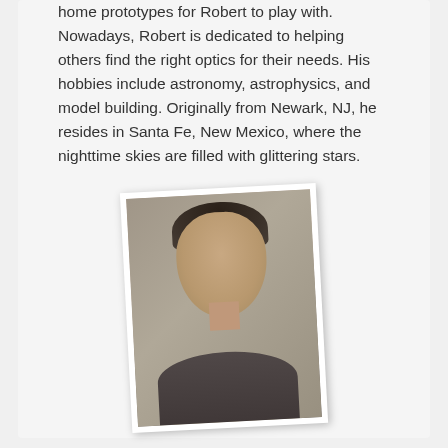home prototypes for Robert to play with. Nowadays, Robert is dedicated to helping others find the right optics for their needs. His hobbies include astronomy, astrophysics, and model building. Originally from Newark, NJ, he resides in Santa Fe, New Mexico, where the nighttime skies are filled with glittering stars.
[Figure (photo): Headshot photo of a young man with dark hair, smiling, wearing a dark shirt. Photo is displayed with a slight rotation and white border on a light gray background.]